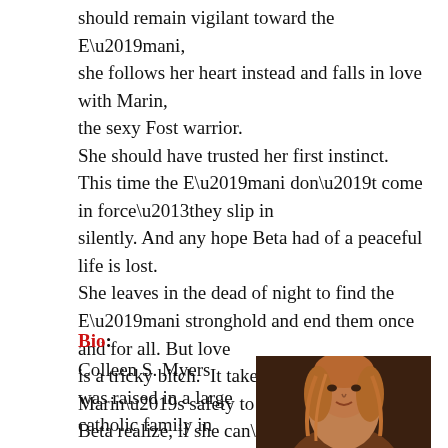should remain vigilant toward the E’mani, she follows her heart instead and falls in love with Marin, the sexy Fost warrior. She should have trusted her first instinct. This time the E’mani don’t come in force–they slip in silently. And any hope Beta had of a peaceful life is lost. She leaves in the dead of night to find the E’mani stronghold and end them once and for all. But love is a tricky bitch. It takes a threat to Marin’s safety to make Beta realize, if she can’t forget her past, she won’t have a future.
Bio:
Colleen S. Myers was raised in a large catholic family in
[Figure (photo): Portrait photo of a woman with reddish-blonde hair, dark background]